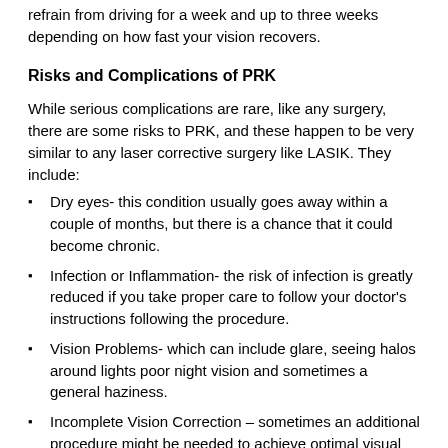refrain from driving for a week and up to three weeks depending on how fast your vision recovers.
Risks and Complications of PRK
While serious complications are rare, like any surgery, there are some risks to PRK, and these happen to be very similar to any laser corrective surgery like LASIK. They include:
Dry eyes- this condition usually goes away within a couple of months, but there is a chance that it could become chronic.
Infection or Inflammation- the risk of infection is greatly reduced if you take proper care to follow your doctor's instructions following the procedure.
Vision Problems- which can include glare, seeing halos around lights poor night vision and sometimes a general haziness.
Incomplete Vision Correction – sometimes an additional procedure might be needed to achieve optimal visual acuity.
In general, PRK is considered to be a relatively safe and effective